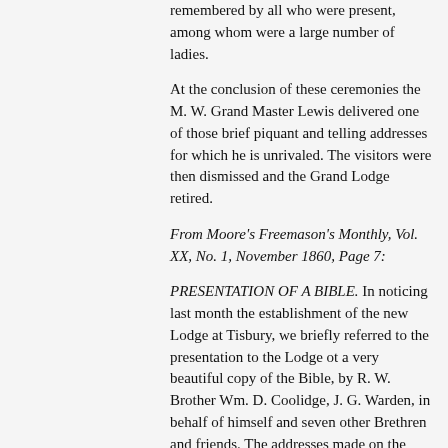remembered by all who were present, among whom were a large number of ladies.
At the conclusion of these ceremonies the M. W. Grand Master Lewis delivered one of those brief piquant and telling addresses for which he is unrivaled. The visitors were then dismissed and the Grand Lodge retired.
From Moore's Freemason's Monthly, Vol. XX, No. 1, November 1860, Page 7:
PRESENTATION OF A BIBLE. In noticing last month the establishment of the new Lodge at Tisbury, we briefly referred to the presentation to the Lodge ot a very beautiful copy of the Bible, by R. W. Brother Wm. D. Coolidge, J. G. Warden, in behalf of himself and seven other Brethren and friends. The addresses made on the occasion we find published in the Vineyard Gazette, and with pleasure transfer them to our pages, as follows :—
"Worshipful Master, — It will be remembered by you, that a few weeks since, a party of